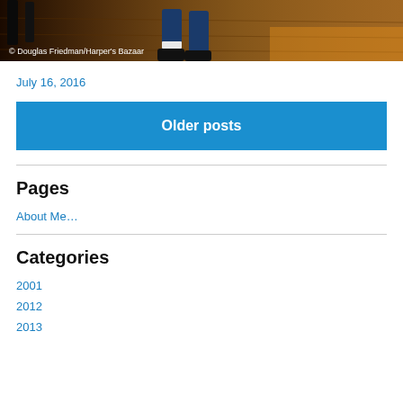[Figure (photo): Partial photo showing someone's legs on a wooden floor surface, with dark furniture legs visible. Photo credit: © Douglas Friedman/Harper's Bazaar]
© Douglas Friedman/Harper's Bazaar
July 16, 2016
Older posts
Pages
About Me…
Categories
2001
2012
2013